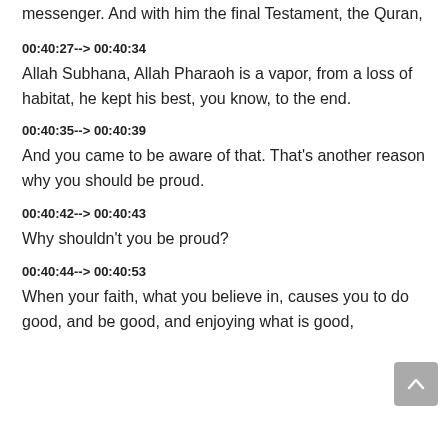messenger. And with him the final Testament, the Quran,
00:40:27--> 00:40:34
Allah Subhana, Allah Pharaoh is a vapor, from a loss of habitat, he kept his best, you know, to the end.
00:40:35--> 00:40:39
And you came to be aware of that. That's another reason why you should be proud.
00:40:42--> 00:40:43
Why shouldn't you be proud?
00:40:44--> 00:40:53
When your faith, what you believe in, causes you to do good, and be good, and enjoying what is good,